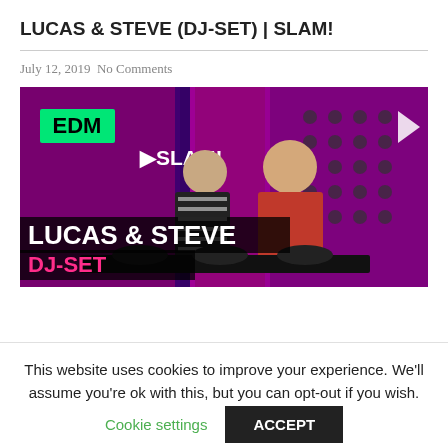LUCAS & STEVE (DJ-SET) | SLAM!
July 12, 2019 No Comments
[Figure (photo): Video thumbnail showing two DJs (Lucas & Steve) performing a DJ set at SLAM! EDM stage, with colorful purple/pink lighting, mixing equipment, and text overlays reading 'EDM', 'SLAM!', 'LUCAS & STEVE', 'DJ-SET']
This website uses cookies to improve your experience. We'll assume you're ok with this, but you can opt-out if you wish.
Cookie settings   ACCEPT